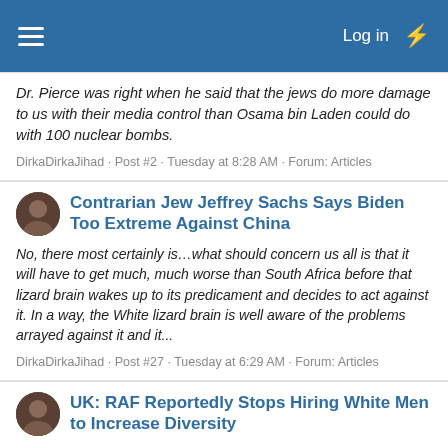Log in
Dr. Pierce was right when he said that the jews do more damage to us with their media control than Osama bin Laden could do with 100 nuclear bombs.
DirkaDirkaJihad · Post #2 · Tuesday at 8:28 AM · Forum: Articles
Contrarian Jew Jeffrey Sachs Says Biden Too Extreme Against China
No, there most certainly is…what should concern us all is that it will have to get much, much worse than South Africa before that lizard brain wakes up to its predicament and decides to act against it. In a way, the White lizard brain is well aware of the problems arrayed against it and it...
DirkaDirkaJihad · Post #27 · Tuesday at 6:29 AM · Forum: Articles
UK: RAF Reportedly Stops Hiring White Men to Increase Diversity
Looks like the best Air Force in the world is going to get even bester. I have to try really hard not to laugh in the faces of all these backwards patriotards who decry what the jews are doing to